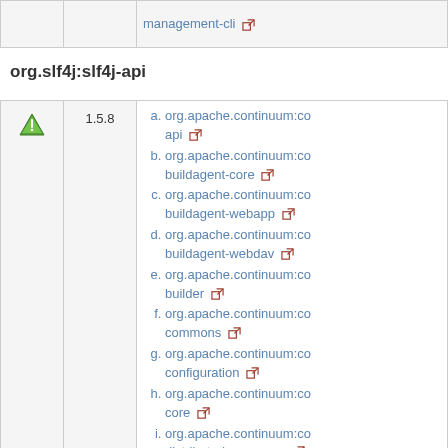|  |  |  |
| --- | --- | --- |
|  |  | management-cli ⧉ |
org.slf4j:slf4j-api
|  | 1.5.8 |  |
| --- | --- | --- |
| [green triangle] | 1.5.8 | a. org.apache.continuum:co... api
b. org.apache.continuum:co... buildagent-core
c. org.apache.continuum:co... buildagent-webapp
d. org.apache.continuum:co... buildagent-webdav
e. org.apache.continuum:co... builder
f. org.apache.continuum:co... commons
g. org.apache.continuum:co... configuration
h. org.apache.continuum:co... core
i. org.apache.continuum:co... distributed-commons
j. org.apache.continuum:co... distributed-master-client
k. org.apache.continuum:co... distributed-master-server
l. org.apache.continuum:co... distributed-slave-client |